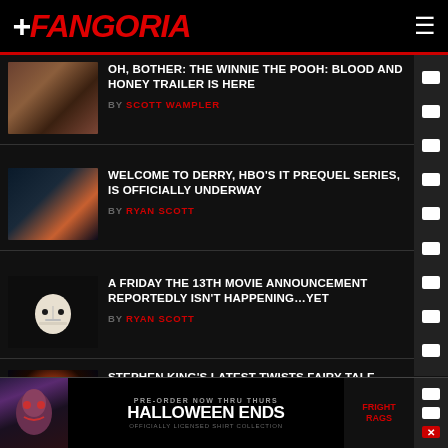FANGORIA
OH, BOTHER: THE WINNIE THE POOH: BLOOD AND HONEY TRAILER IS HERE
BY SCOTT WAMPLER
WELCOME TO DERRY, HBO'S IT PREQUEL SERIES, IS OFFICIALLY UNDERWAY
BY RYAN SCOTT
A FRIDAY THE 13TH MOVIE ANNOUNCEMENT REPORTEDLY ISN'T HAPPENING...YET
BY RYAN SCOTT
STEPHEN KING'S LATEST TWISTS FAIRY TALE TROPES TO EXCELLENT EFFECT
BY SCOTT WAMPLER
[Figure (screenshot): Ad banner: PRE-ORDER NOW THRU THURS HALLOWEEN ENDS — officially licensed shirt collection, Fright Rags logo]